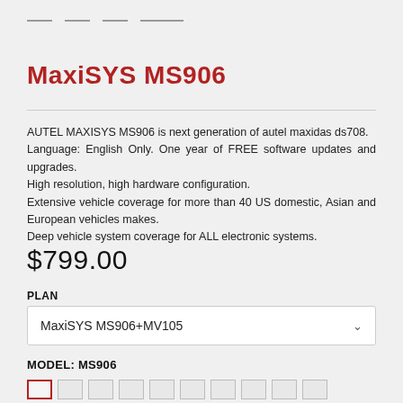— — — ——
MaxiSYS MS906
AUTEL MAXISYS MS906 is next generation of autel maxidas ds708. Language: English Only. One year of FREE software updates and upgrades.
High resolution, high hardware configuration.
Extensive vehicle coverage for more than 40 US domestic, Asian and European vehicles makes.
Deep vehicle system coverage for ALL electronic systems.
$799.00
PLAN
MaxiSYS MS906+MV105
MODEL: MS906